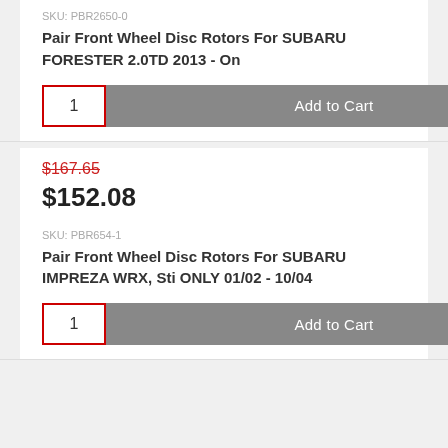SKU: PBR2650-0
Pair Front Wheel Disc Rotors For SUBARU FORESTER 2.0TD 2013 - On
1  Add to Cart
$167.65
$152.08
SKU: PBR654-1
Pair Front Wheel Disc Rotors For SUBARU IMPREZA WRX, Sti ONLY 01/02 - 10/04
1  Add to Cart